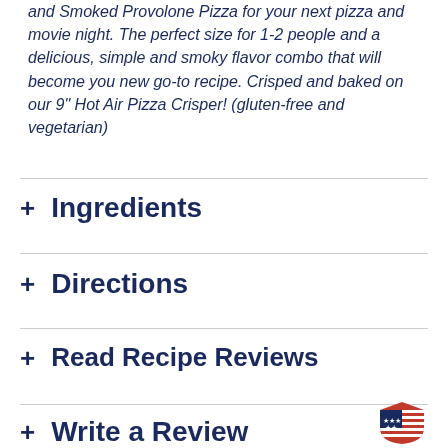and Smoked Provolone Pizza for your next pizza and movie night. The perfect size for 1-2 people and a delicious, simple and smoky flavor combo that will become you new go-to recipe. Crisped and baked on our 9" Hot Air Pizza Crisper! (gluten-free and vegetarian)
+ Ingredients
+ Directions
+ Read Recipe Reviews
+ Write a Review